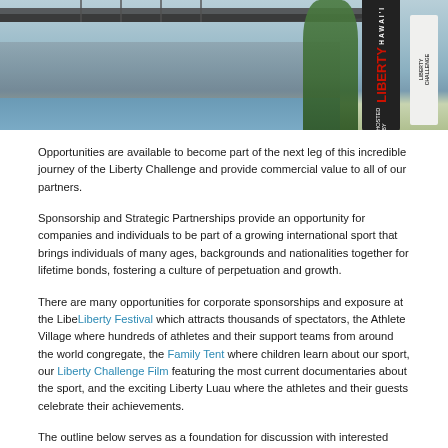[Figure (photo): Photo of a bridge (Brooklyn Bridge area) with a Hawaii Liberty Challenge banner and signage, water in foreground, trees and city buildings in background.]
Opportunities are available to become part of the next leg of this incredible journey of the Liberty Challenge and provide commercial value to all of our partners.
Sponsorship and Strategic Partnerships provide an opportunity for companies and individuals to be part of a growing international sport that brings individuals of many ages, backgrounds and nationalities together for lifetime bonds, fostering a culture of perpetuation and growth.
There are many opportunities for corporate sponsorships and exposure at the Liberty Festival which attracts thousands of spectators, the Athlete Village where hundreds of athletes and their support teams from around the world congregate, the Family Tent where children learn about our sport, our Liberty Challenge Film featuring the most current documentaries about the sport, and the exciting Liberty Luau where the athletes and their guests celebrate their achievements.
The outline below serves as a foundation for discussion with interested parties from whom we will create comprehensive benefits packages. If you or your company are interested in supporting the Liberty Challenge, please email our sponsorship team.
Sponsorship, Vendor, and Food and Beverage Opportunities: Liberty Challenge (li